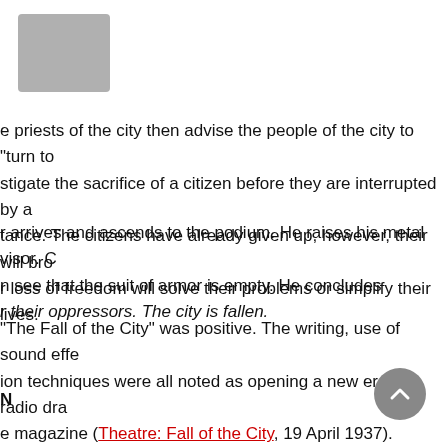[Figure (other): Gray square placeholder image in upper left]
e priests of the city then advise the people of the city to "turn to stigate the sacrifice of a citizen before they are interrupted by a tance. The citizens have already given up, however, their will bro r loss of freedom will solve their problems or simplify their lives.
r arrives and ascends to the podium. He raises his metal visor. C n see that the suit of armor is empty. He concludes their oppressors. The city is fallen.
"The Fall of the City" was positive. The writing, use of sound effe ion techniques were all noted as opening a new era for radio dra e magazine (Theatre: Fall of the City, 19 April 1937).
N